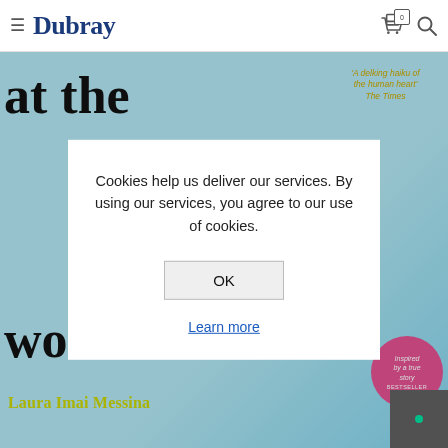Dubray
[Figure (illustration): Book cover showing 'at the world' text in large black serif font on a light blue/teal watercolor background, with yellow-green quote text 'A delking haiku of the human heart' The Times, pink 'Inspired by a true story BESTSELLER' circle badge, and author name 'Laura Imai Messina' in yellow-green]
Cookies help us deliver our services. By using our services, you agree to our use of cookies.
OK
Learn more